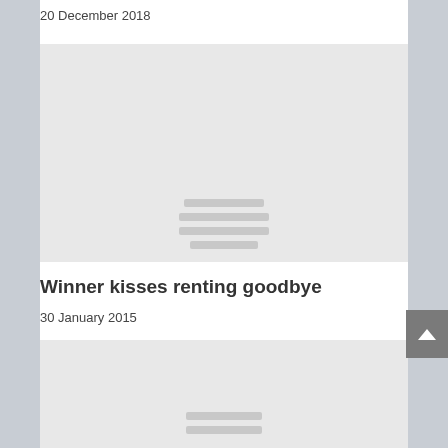20 December 2018
[Figure (other): Image placeholder with loading lines, light gray background]
Winner kisses renting goodbye
30 January 2015
[Figure (other): Image placeholder with loading lines, light gray background, partially visible]